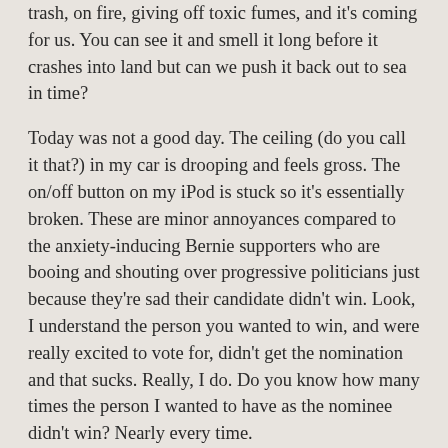trash, on fire, giving off toxic fumes, and it's coming for us. You can see it and smell it long before it crashes into land but can we push it back out to sea in time?
Today was not a good day. The ceiling (do you call it that?) in my car is drooping and feels gross. The on/off button on my iPod is stuck so it's essentially broken. These are minor annoyances compared to the anxiety-inducing Bernie supporters who are booing and shouting over progressive politicians just because they're sad their candidate didn't win. Look, I understand the person you wanted to win, and were really excited to vote for, didn't get the nomination and that sucks. Really, I do. Do you know how many times the person I wanted to have as the nominee didn't win? Nearly every time.
Clinton/Kaine is not an exciting ticket. We don't need exciting though, we need to pack the bench on the Supreme Court and get whatever we can through